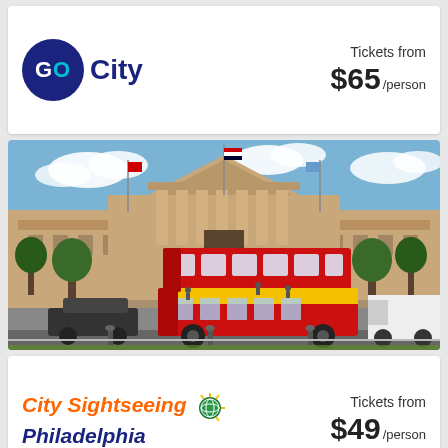[Figure (logo): GO City logo: dark blue circle with 'GO' text (G white, O cyan) and 'City' in dark blue text]
Tickets from $65 /person
[Figure (photo): Red double-decker City Sightseeing Philadelphia hop-on hop-off tour bus in front of the Philadelphia Museum of Art with its grand steps and classical columns, flags flying, sunny day]
[Figure (logo): City Sightseeing Philadelphia logo: orange italic text 'City Sightseeing' with globe icon, blue italic 'Philadelphia']
Tickets from $49 /person